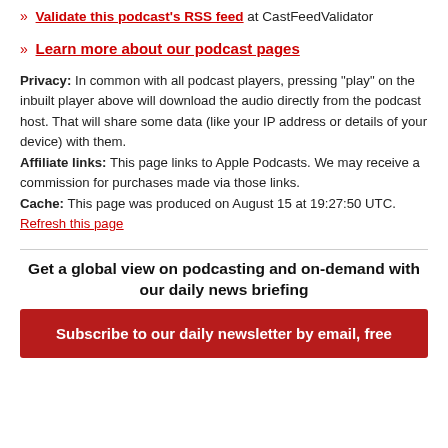» Validate this podcast's RSS feed at CastFeedValidator
» Learn more about our podcast pages
Privacy: In common with all podcast players, pressing "play" on the inbuilt player above will download the audio directly from the podcast host. That will share some data (like your IP address or details of your device) with them. Affiliate links: This page links to Apple Podcasts. We may receive a commission for purchases made via those links. Cache: This page was produced on August 15 at 19:27:50 UTC. Refresh this page
Get a global view on podcasting and on-demand with our daily news briefing
Subscribe to our daily newsletter by email, free